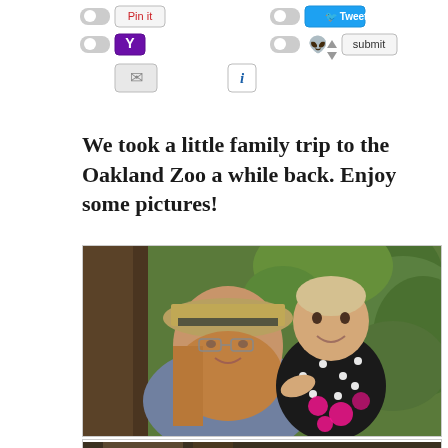[Figure (screenshot): Social media sharing toolbar with Pinterest Pin it, Twitter Tweet, Yahoo Y!, Reddit, email, info, and submit buttons with toggle switches]
We took a little family trip to the Oakland Zoo a while back. Enjoy some pictures!
[Figure (photo): A woman wearing a tan fedora hat and glasses, smiling, holding a baby girl in a black floral dress with pink flowers, outdoors at Oakland Zoo with green trees in background]
[Figure (photo): Partial view of another photo below, cropped at bottom of page]